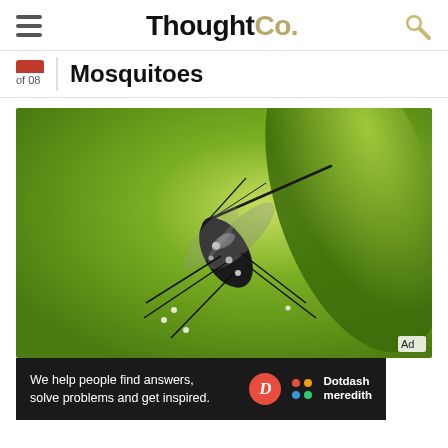ThoughtCo.
of 08  Mosquitoes
[Figure (photo): Close-up macro photograph of a mosquito (black and white striped, likely Aedes species) clinging to a green leaf against a blurred green background.]
Ad
We help people find answers, solve problems and get inspired.  Dotdash meredith